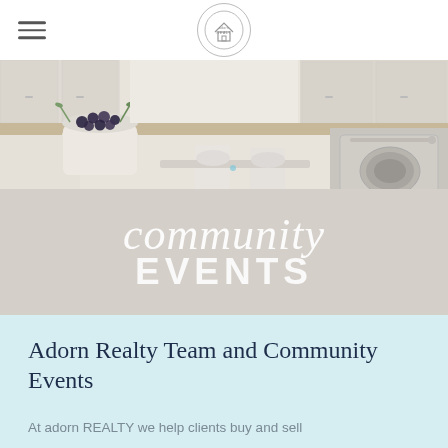Adorn Realty logo and navigation menu
[Figure (photo): Bright white kitchen interior with cabinets, an oven, and a white pot with blueberries on a counter]
community EVENTS
Adorn Realty Team and Community Events
At adorn REALTY we help clients buy and sell